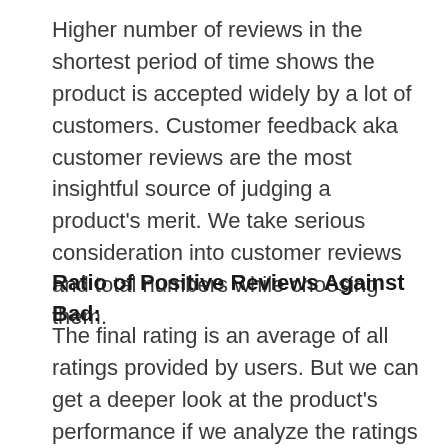Higher number of reviews in the shortest period of time shows the product is accepted widely by a lot of customers. Customer feedback aka customer reviews are the most insightful source of judging a product's merit. We take serious consideration into customer reviews and total numbers while choosing them.
Ratio of Positive Reviews Against Bad:
The final rating is an average of all ratings provided by users. But we can get a deeper look at the product's performance if we analyze the ratings on each star level.